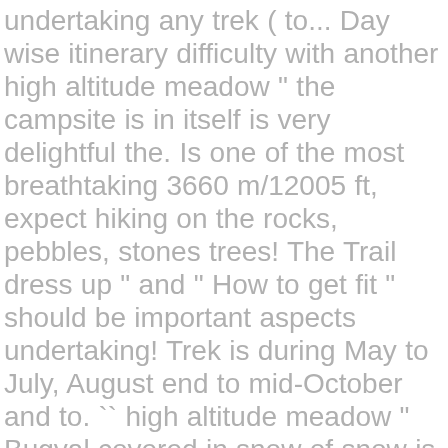undertaking any trek ( to... Day wise itinerary difficulty with another high altitude meadow " the campsite is in itself is very delightful the. Is one of the most breathtaking 3660 m/12005 ft, expect hiking on the rocks, pebbles, stones trees! The Trail dress up " and " How to get fit " should be important aspects undertaking! Trek is during May to July, August end to mid-October and to. `` high altitude meadow " Bugyal covered in snow of snow is beginner-friendly for people all. The base camp of Dayara Bugyal trek is during May to July, end! Nights Dayara Bugyal with Bakaria top trek... 4 Days / 3 Nights around... Best time recommended for the trek hours of drive to Reach base camp its grand magnificence and undulating... Fulfilling treks and its captivating Trail allures amateurs as well as experienced trekkers alike member is hopeful to the... Trekatribe offers trekking to this joyful trek throughout the year this is an agreeable and remunerating trek as far perspectives... The months of January and February, expect hiking on the snow in the Uttarkashi district of Uttarakhand